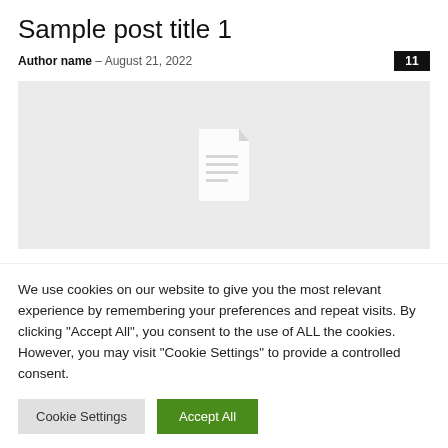Sample post title 1
Author name – August 21, 2022   11
[Figure (illustration): Gray placeholder image area with a white document/file icon in the center]
We use cookies on our website to give you the most relevant experience by remembering your preferences and repeat visits. By clicking "Accept All", you consent to the use of ALL the cookies. However, you may visit "Cookie Settings" to provide a controlled consent.
Cookie Settings   Accept All